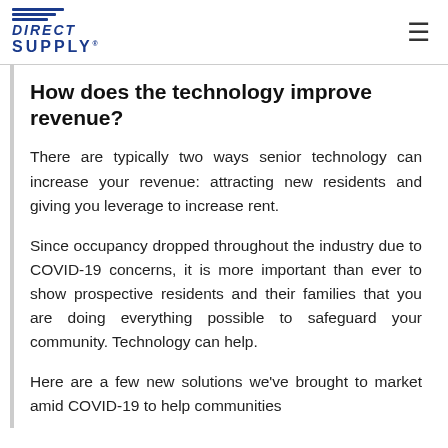Direct Supply (logo) — navigation menu icon
How does the technology improve revenue?
There are typically two ways senior technology can increase your revenue: attracting new residents and giving you leverage to increase rent.
Since occupancy dropped throughout the industry due to COVID-19 concerns, it is more important than ever to show prospective residents and their families that you are doing everything possible to safeguard your community. Technology can help.
Here are a few new solutions we've brought to market amid COVID-19 to help communities